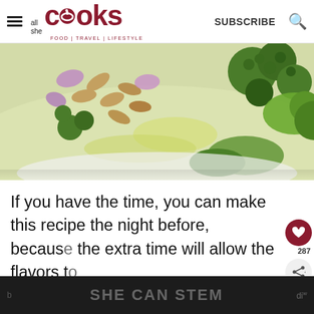all she COOKS | SUBSCRIBE | FOOD | TRAVEL | LIFESTYLE
[Figure (photo): Close-up photo of a salad dish with broccoli, almonds, kale, and other vegetables on a white plate]
If you have the time, you can make this recipe the night before, because the extra time will allow the flavors to b...
[Figure (infographic): Social sharing sidebar with heart/like button showing 287 saves and a share button]
[Figure (other): Advertisement banner reading SHE CAN STEM]